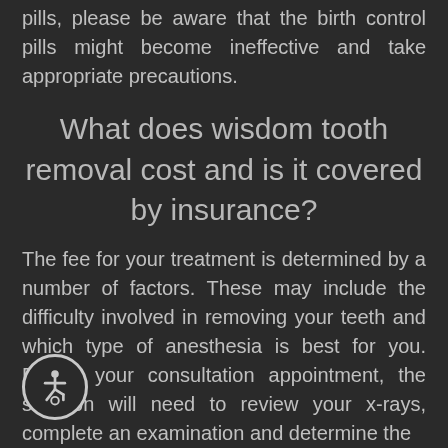pills, please be aware that the birth control pills might become ineffective and take appropriate precautions.
What does wisdom tooth removal cost and is it covered by insurance?
The fee for your treatment is determined by a number of factors. These may include the difficulty involved in removing your teeth and which type of anesthesia is best for you. During your consultation appointment, the surgeon will need to review your x-rays, complete an examination and determine the